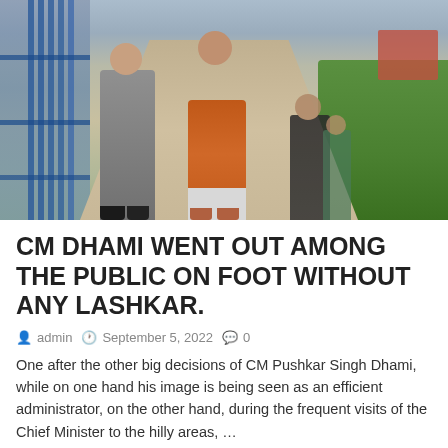[Figure (photo): Outdoor photo of several men walking on a footpath near a water body with a blue fence on the left and green grass on the right. The central figure wears an orange kurta, another wears a gray suit.]
CM DHAMI WENT OUT AMONG THE PUBLIC ON FOOT WITHOUT ANY LASHKAR.
admin  September 5, 2022  0
One after the other big decisions of CM Pushkar Singh Dhami, while on one hand his image is being seen as an efficient administrator, on the other hand, during the frequent visits of the Chief Minister to the hilly areas, …